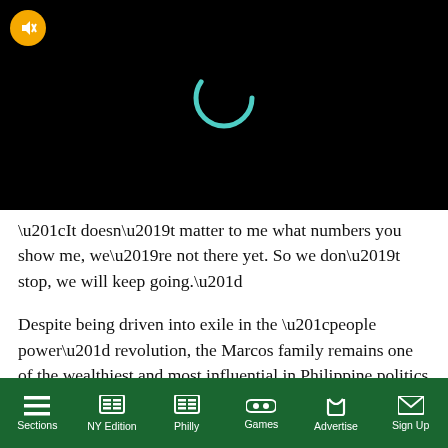[Figure (screenshot): Black video player area with a teal loading spinner and a yellow mute button in the top-left corner]
“It doesn’t matter to me what numbers you show me, we’re not there yet. So we don’t stop, we will keep going.”
Despite being driven into exile in the “people power” revolution, the Marcos family remains one of the wealthiest and most influential in Philippine politics
Sections | NY Edition | Philly | Games | Advertise | Sign Up